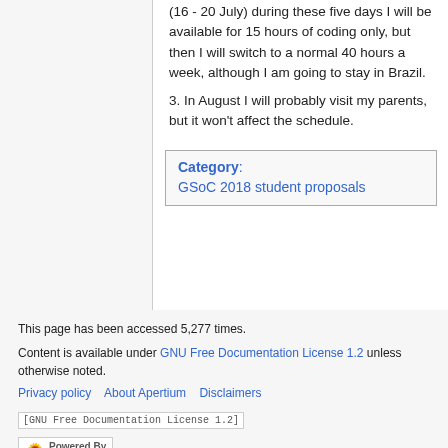(16 - 20 July) during these five days I will be available for 15 hours of coding only, but then I will switch to a normal 40 hours a week, although I am going to stay in Brazil.
3. In August I will probably visit my parents, but it won't affect the schedule.
Category: GSoC 2018 student proposals
This page has been accessed 5,277 times.
Content is available under GNU Free Documentation License 1.2 unless otherwise noted.
Privacy policy   About Apertium   Disclaimers
[Figure (logo): GNU Free Documentation License 1.2 badge]
[Figure (logo): Powered by MediaWiki badge]